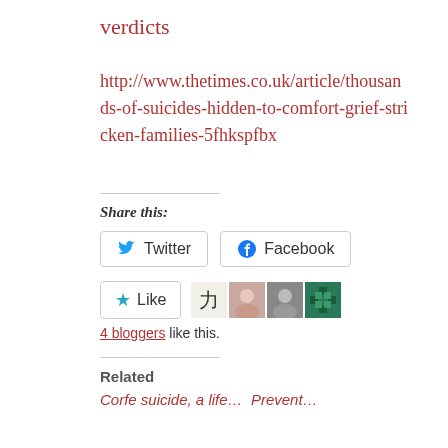verdicts
http://www.thetimes.co.uk/article/thousands-of-suicides-hidden-to-comfort-grief-stricken-families-5fhkspfbx
Share this:
Twitter   Facebook
Like  4 bloggers like this.
Related
Corfe suicide, a life...  Prevent...